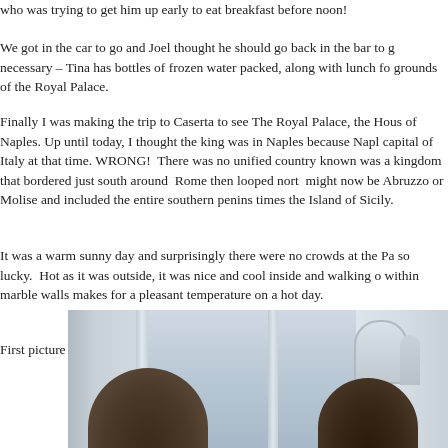who was trying to get him up early to eat breakfast before noon!
We got in the car to go and Joel thought he should go back in the bar to g necessary – Tina has bottles of frozen water packed, along with lunch fo grounds of the Royal Palace.
Finally I was making the trip to Caserta to see The Royal Palace, the Hous of Naples. Up until today, I thought the king was in Naples because Napl capital of Italy at that time. WRONG!  There was no unified country known was a kingdom that bordered just south around  Rome then looped nort  might now be Abruzzo or Molise and included the entire southern penins times the Island of Sicily.
It was a warm sunny day and surprisingly there were no crowds at the Pa so lucky.  Hot as it was outside, it was nice and cool inside and walking o within marble walls makes for a pleasant temperature on a hot day.
First picture of the day taken by Tina
[Figure (photo): Interior of the Royal Palace of Caserta showing marble architecture with arched doorways, columns, and decorative elements. Two people's heads visible in the foreground.]